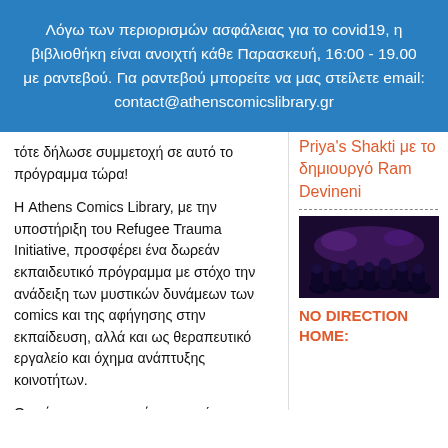Λόγω των περιορισμών ασφάλειας για το covid19, η βιβλιοθήκη είναι ανοιχτή κάθε Παρασκευή, 16:00 - 19.00 με ραντεβού. Για ραντεβού μπορείτε να μας στείλετε email: contact@athenscomicslibrary.gr
τότε δήλωσε συμμετοχή σε αυτό το πρόγραμμα τώρα!
Η Athens Comics Library, με την υποστήριξη του Refugee Trauma Initiative, προσφέρει ένα δωρεάν εκπαιδευτικό πρόγραμμα με στόχο την ανάδειξη των μυστικών δυνάμεων των comics και της αφήγησης στην εκπαίδευση, αλλά και ως θεραπευτικό εργαλείο και όχημα ανάπτυξης κοινοτήτων.
Ο στόχος του προγράμματος είναι
Priya's Shakti με το δημιουργό Ram Devineni
[Figure (photo): Dark photo of a crowd of people at an event, lit with purple/blue stage lighting]
NO DIRECTION HOME: